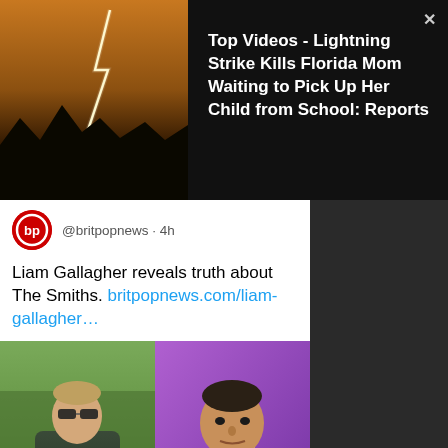[Figure (photo): Lightning strike photo with mountain silhouette at dusk/night with orange sky]
Top Videos - Lightning Strike Kills Florida Mom Waiting to Pick Up Her Child from School: Reports
@britpopnews · 4h
Liam Gallagher reveals truth about The Smiths. britpopnews.com/liam-gallagher…
[Figure (photo): Two photos side by side: left shows a man with sunglasses outdoors in a field, right shows an older man against a purple background]
britpopnews.com
Liam Gallagher Drops The Smiths Bombshell